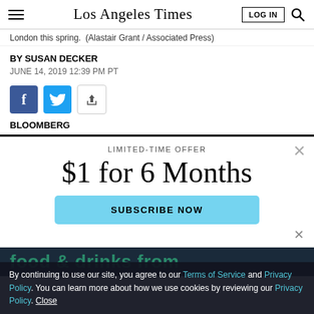Los Angeles Times
London this spring. (Alastair Grant / Associated Press)
BY SUSAN DECKER
JUNE 14, 2019 12:39 PM PT
[Figure (other): Social share buttons: Facebook, Twitter, and generic share icon]
BLOOMBERG
LIMITED-TIME OFFER
$1 for 6 Months
SUBSCRIBE NOW
By continuing to use our site, you agree to our Terms of Service and Privacy Policy. You can learn more about how we use cookies by reviewing our Privacy Policy. Close